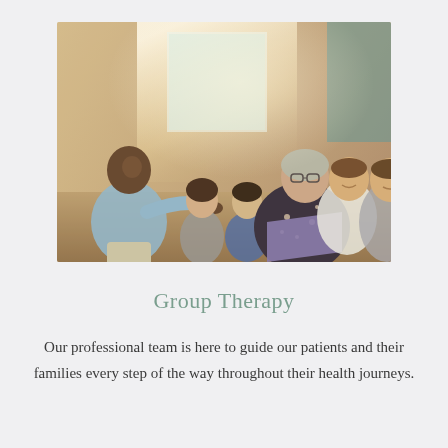[Figure (photo): A group therapy session with several people seated in a circle in a rustic room. An older woman holding a folder is speaking with a young Black man, while other young adults sit and listen in the background near a window.]
Group Therapy
Our professional team is here to guide our patients and their families every step of the way throughout their health journeys.